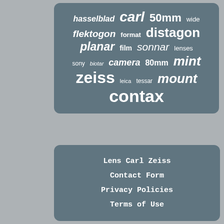[Figure (infographic): Tag cloud on a dark teal/slate rounded rectangle containing camera lens related terms: hasselblad, carl, 50mm, wide, flektogon, format, distagon, planar, film, sonnar, lenses, sony, biotar, camera, 80mm, mint, zeiss, leica, tessar, mount, contax — displayed in varying sizes and italic/bold styles]
Lens Carl Zeiss
Contact Form
Privacy Policies
Terms of Use